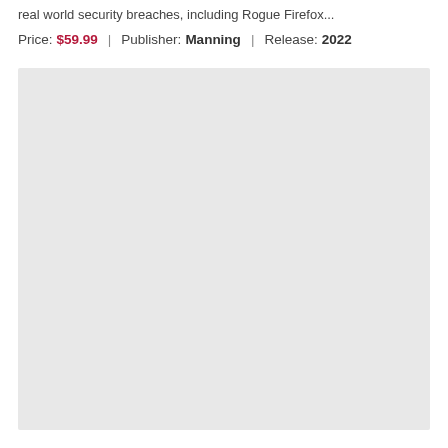real world security breaches, including Rogue Firefox...
Price: $59.99  |  Publisher: Manning  |  Release: 2022
[Figure (illustration): Large light gray rectangular placeholder image area]